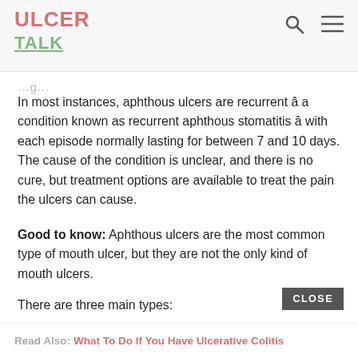ULCER TALK
In most instances, aphthous ulcers are recurrent â a condition known as recurrent aphthous stomatitis â with each episode normally lasting for between 7 and 10 days. The cause of the condition is unclear, and there is no cure, but treatment options are available to treat the pain the ulcers can cause.
Good to know: Aphthous ulcers are the most common type of mouth ulcer, but they are not the only kind of mouth ulcers.
There are three main types:
Read Also: What To Do If You Have Ulcerative Colitis